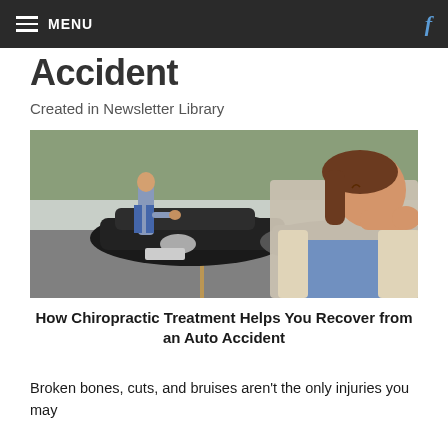MENU
Accident
Created in Newsletter Library
[Figure (photo): Woman holding her neck in pain after an auto accident, with two cars and a man standing in the background in a parking lot.]
How Chiropractic Treatment Helps You Recover from an Auto Accident
Broken bones, cuts, and bruises aren't the only injuries you may